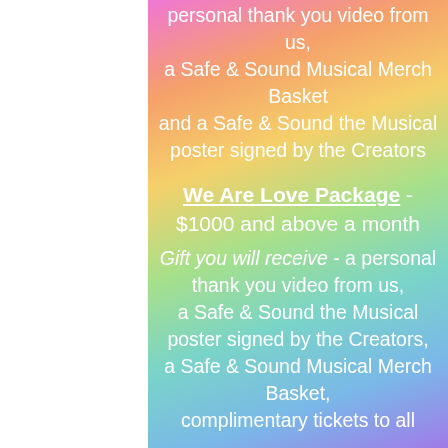personal thank you video from us, a Safe & Sound Musical Merch Basket and a Safe & Sound the Musical poster signed by the Creators
We Are Love Package - $1000 and above a month Gift you will receive - a personal thank you video from us, a Safe & Sound the Musical poster signed by the Creators, a Safe & Sound Musical Merch Basket, complimentary tickets to all